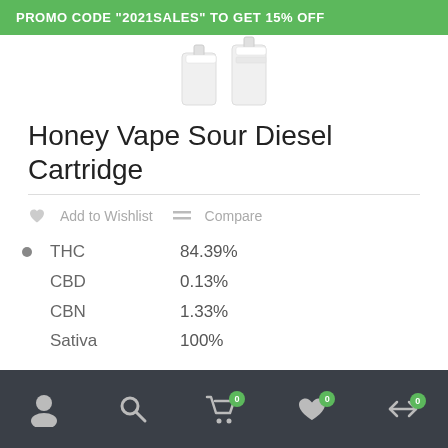PROMO CODE "2021SALES" TO GET 15% OFF
[Figure (photo): Product image of vape cartridges, white cartridges on white background]
Honey Vape Sour Diesel Cartridge
Add to Wishlist  Compare
THC  84.39%
CBD  0.13%
CBN  1.33%
Sativa  100%
User icon | Search icon | Cart 0 | Wishlist 0 | Compare 0